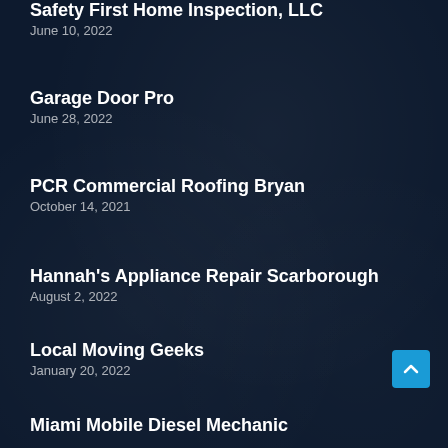Safety First Home Inspection, LLC
June 10, 2022
Garage Door Pro
June 28, 2022
PCR Commercial Roofing Bryan
October 14, 2021
Hannah's Appliance Repair Scarborough
August 2, 2022
Local Moving Geeks
January 20, 2022
Miami Mobile Diesel Mechanic